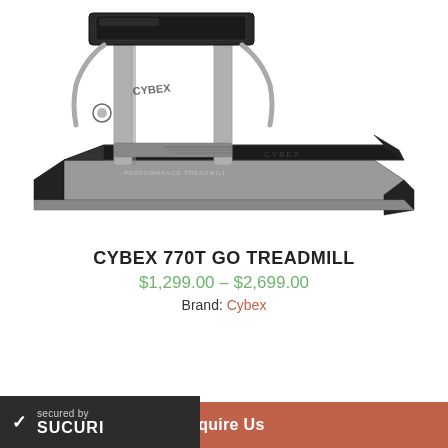[Figure (photo): Cybex 770T Go Treadmill — a large commercial-grade treadmill with grey frame, black belt deck, and Cybex branding on the upright post. Shown in 3/4 perspective view against white background.]
CYBEX 770T GO TREADMILL
$1,299.00 – $2,699.00
Brand: Cybex
Inquire Us